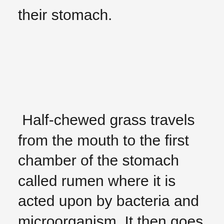their stomach.
Half-chewed grass travels from the mouth to the first chamber of the stomach called rumen where it is acted upon by bacteria and microorganism. It then goes into the reticulum from where it is returned to the mouth as cud for thoroughly chewing called